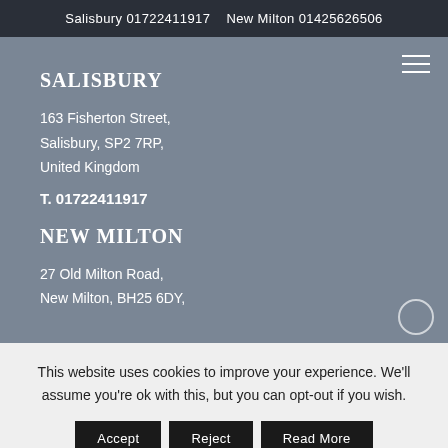Salisbury 01722411917    New Milton 01425626506
SALISBURY
163 Fisherton Street,
Salisbury, SP2 7RP,
United Kingdom
T. 01722411917
NEW MILTON
27 Old Milton Road,
New Milton, BH25 6DY,
This website uses cookies to improve your experience. We'll assume you're ok with this, but you can opt-out if you wish.
Accept
Reject
Read More